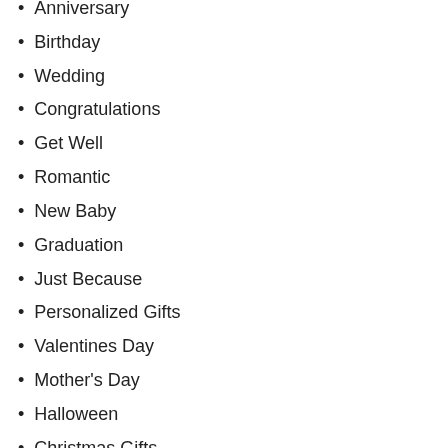Anniversary
Birthday
Wedding
Congratulations
Get Well
Romantic
New Baby
Graduation
Just Because
Personalized Gifts
Valentines Day
Mother's Day
Halloween
Christmas Gifts
Thanksgiving Day
St Patricks Day
Easter
Father's Day
Flower Resource
News & Review
Gifts For Her
Gifts For Him